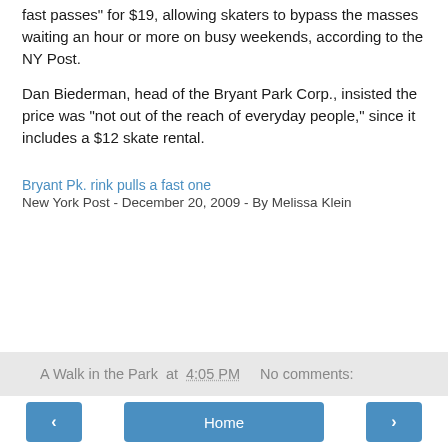fast passes for $19, allowing skaters to bypass the masses waiting an hour or more on busy weekends, according to the NY Post.
Dan Biederman, head of the Bryant Park Corp., insisted the price was "not out of the reach of everyday people," since it includes a $12 skate rental.
Bryant Pk. rink pulls a fast one
New York Post - December 20, 2009 - By Melissa Klein
A Walk in the Park at 4:05 PM   No comments:
‹   Home   ›